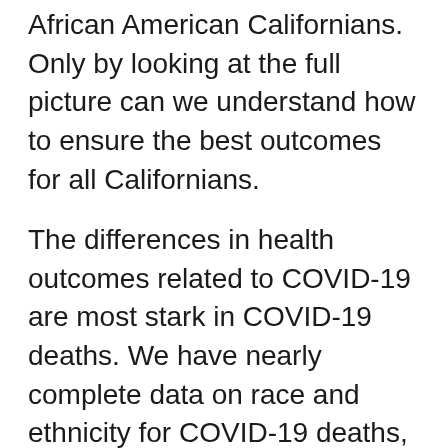African American Californians. Only by looking at the full picture can we understand how to ensure the best outcomes for all Californians.
The differences in health outcomes related to COVID-19 are most stark in COVID-19 deaths. We have nearly complete data on race and ethnicity for COVID-19 deaths, and we are seeing the following trends. Overall, for adults 18 and older, Latinos, African Americans and Native Hawaiians and Pacific Islanders are dying at disproportionately higher levels. The proportion of COVID-19 deaths in African Americans is more than one-and-a-half times their population representation across all adult age categories. For Native Hawaiians and Pacific Islanders, overall numbers are low, but